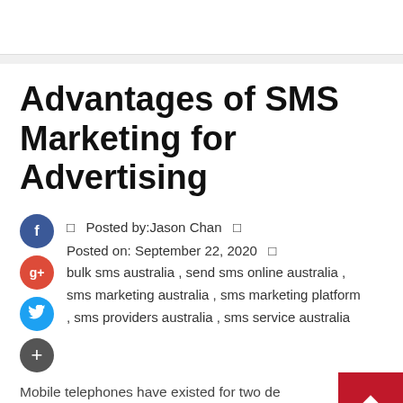Advantages of SMS Marketing for Advertising
Posted by:Jason Chan
Posted on: September 22, 2020
bulk sms australia , send sms online australia , sms marketing australia , sms marketing platform , sms providers australia , sms service australia
Mobile telephones have existed for two dec since its creation in 1992. It started a whole new